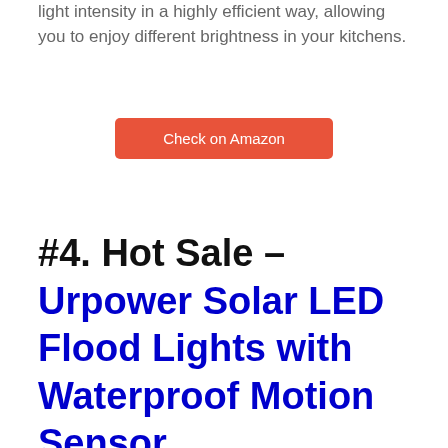light intensity in a highly efficient way, allowing you to enjoy different brightness in your kitchens.
[Figure (other): Orange/red rounded rectangle button labeled 'Check on Amazon']
#4. Hot Sale – Urpower Solar LED Flood Lights with Waterproof Motion Sensor